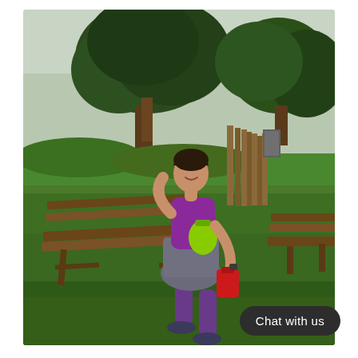[Figure (photo): A woman in athletic running gear (purple tank top, gray skirt, purple compression socks, running shoes, neon green hydration pack) poses playfully near a wooden park bench on a grassy area, surrounded by large green trees. Behind her is a wooden fence/structure and what appears to be a utility box. She is smiling and posing with one hand raised to her head.]
Chat with us